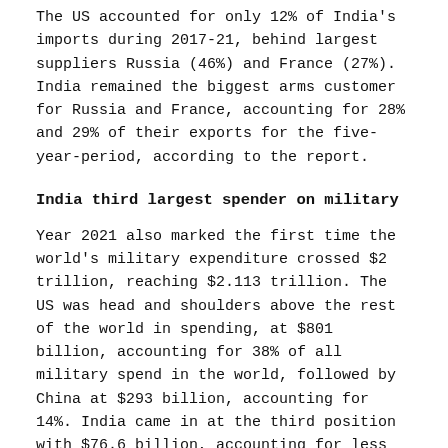The US accounted for only 12% of India's imports during 2017-21, behind largest suppliers Russia (46%) and France (27%). India remained the biggest arms customer for Russia and France, accounting for 28% and 29% of their exports for the five-year-period, according to the report.
India third largest spender on military
Year 2021 also marked the first time the world's military expenditure crossed $2 trillion, reaching $2.113 trillion. The US was head and shoulders above the rest of the world in spending, at $801 billion, accounting for 38% of all military spend in the world, followed by China at $293 billion, accounting for 14%. India came in at the third position with $76.6 billion, accounting for less than 4%, according to the report.